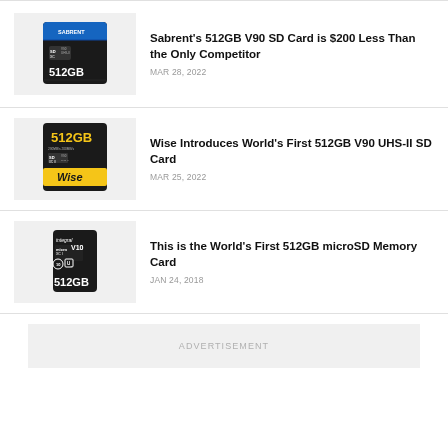[Figure (photo): Sabrent 512GB V90 SD card with blue and black design]
Sabrent’s 512GB V90 SD Card is $200 Less Than the Only Competitor
MAR 28, 2022
[Figure (photo): Wise 512GB V90 UHS-II SD card with black and yellow design]
Wise Introduces World’s First 512GB V90 UHS-II SD Card
MAR 25, 2022
[Figure (photo): Integral 512GB microSD V10 memory card]
This is the World’s First 512GB microSD Memory Card
JAN 24, 2018
ADVERTISEMENT